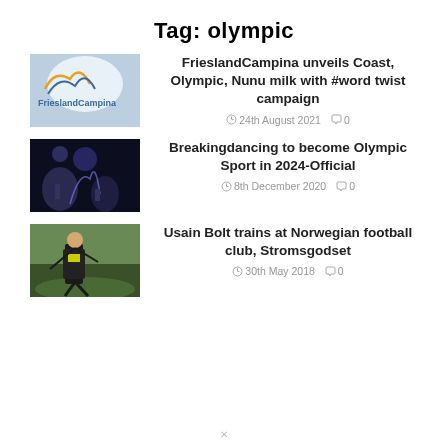Tag: olympic
[Figure (photo): FrieslandCampina logo/sign photo]
FrieslandCampina unveils Coast, Olympic, Nunu milk with #word twist campaign
24th August 2021  0
[Figure (photo): Breakdancing performer photo]
Breakingdancing to become Olympic Sport in 2024-Official
8th December 2020  0
[Figure (photo): Usain Bolt running/posing photo]
Usain Bolt trains at Norwegian football club, Stromsgodset
30th May 2018  0